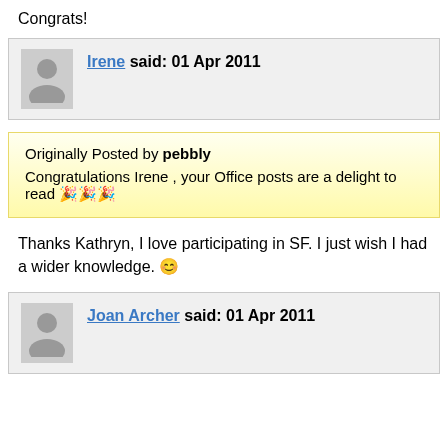Congrats!
Irene said: 01 Apr 2011
Originally Posted by pebbly
Congratulations Irene , your Office posts are a delight to read 🎉🎉🎉
Thanks Kathryn, I love participating in SF. I just wish I had a wider knowledge. 😊
Joan Archer said: 01 Apr 2011